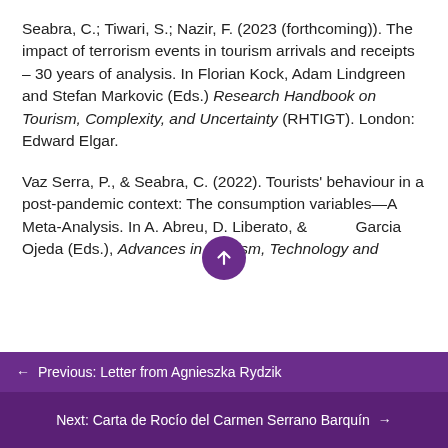Seabra, C.; Tiwari, S.; Nazir, F. (2023 (forthcoming)). The impact of terrorism events in tourism arrivals and receipts – 30 years of analysis. In Florian Kock, Adam Lindgreen and Stefan Markovic (Eds.) Research Handbook on Tourism, Complexity, and Uncertainty (RHTIGT). London: Edward Elgar.
Vaz Serra, P., & Seabra, C. (2022). Tourists' behaviour in a post-pandemic context: The consumption variables—A Meta-Analysis. In A. Abreu, D. Liberato, & Garcia Ojeda (Eds.), Advances in Tourism, Technology and...
← Previous: Letter from Agnieszka Rydzik
Next: Carta de Rocío del Carmen Serrano Barquín →